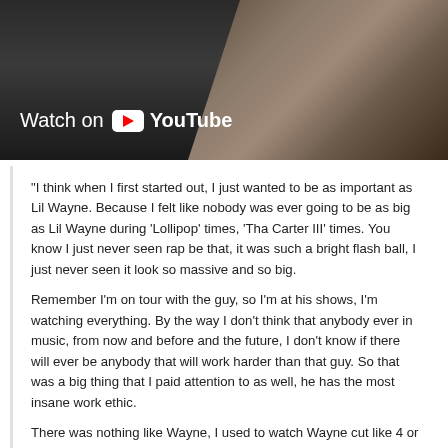[Figure (screenshot): YouTube video thumbnail showing a person's hand with a ring, with 'Watch on YouTube' overlay text and YouTube play button logo]
“I think when I first started out, I just wanted to be as important as Lil Wayne. Because I felt like nobody was ever going to be as big as Lil Wayne during ‘Lollipop’ times, ‘Tha Carter III’ times. You know I just never seen rap be that, it was such a bright flash ball, I just never seen it look so massive and so big.
Remember I’m on tour with the guy, so I’m at his shows, I’m watching everything. By the way I don’t think that anybody ever in music, from now and before and the future, I don’t know if there will ever be anybody that will work harder than that guy. So that was a big thing that I paid attention to as well, he has the most insane work ethic.
There was nothing like Wayne, I used to watch Wayne cut like 4 or 5 classics in one night, joints that would just go on to be mind-blowing. He would get 4 verses off and 2 months, 3 months later those songs would come out, I can’t believe these songs are like ‘Make It Rain’.
I think initially my goal was to be a protégé that didn’t flop. I just wanted to be somebody that was remotely as important as my mentor. From there I think a lot of things changed when Wayne went to jail.